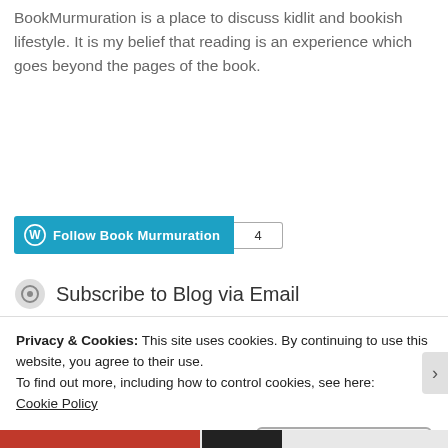BookMurmuration is a place to discuss kidlit and bookish lifestyle. It is my belief that reading is an experience which goes beyond the pages of the book.
[Figure (other): WordPress Follow button for Book Murmuration with follower count badge showing 4]
Subscribe to Blog via Email
Privacy & Cookies: This site uses cookies. By continuing to use this website, you agree to their use.
To find out more, including how to control cookies, see here:
Cookie Policy
Close and accept